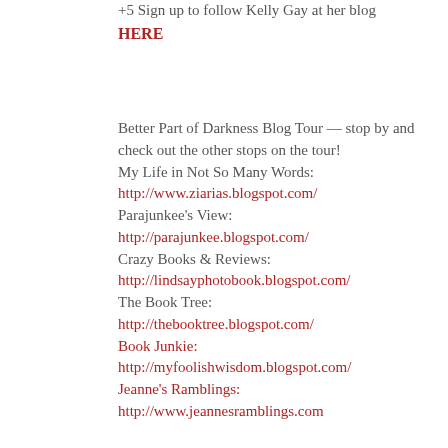+5 Sign up to follow Kelly Gay at her blog HERE
Better Part of Darkness Blog Tour — stop by and check out the other stops on the tour! My Life in Not So Many Words: http://www.ziarias.blogspot.com/ Parajunkee's View: http://parajunkee.blogspot.com/ Crazy Books & Reviews: http://lindsayphotobook.blogspot.com/ The Book Tree: http://thebooktree.blogspot.com/ Book Junkie: http://myfoolishwisdom.blogspot.com/ Jeanne's Ramblings: http://www.jeannesramblings.com